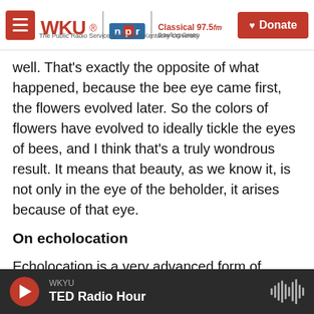WKU NPR | Classical 97.5 fm Bowling Green — The Public Radio Service of Western Kentucky University | Donate
well. That's exactly the opposite of what happened, because the bee eye came first, the flowers evolved later. So the colors of flowers have evolved to ideally tickle the eyes of bees, and I think that's a truly wondrous result. It means that beauty, as we know it, is not only in the eye of the beholder, it arises because of that eye.
On echolocation
Echolocation is a very advanced form of hearing that a lot of animals, like bats and dolphins, use to perceive the world around them. So they make high pitched ultrasonic calls beyond the range of human...
WKYU | TED Radio Hour